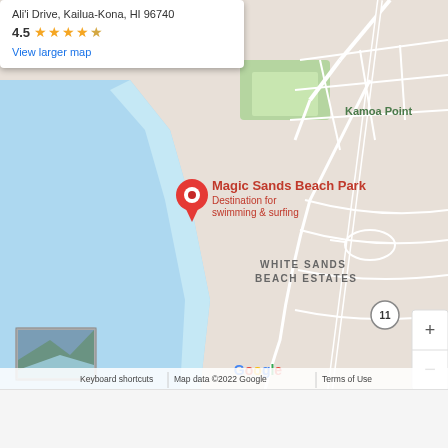[Figure (map): Google Map screenshot showing Magic Sands Beach Park in Kailua-Kona, HI. Shows coastline with blue ocean on left, White Sands Beach Estates neighborhood, red pin marker for Magic Sands Beach Park labeled 'Destination for swimming & surfing', Kamoa Point to the north, Kahalu'u Beach to the south, Ali'i Drive road label, Route 11 marker, Google logo, zoom controls, satellite thumbnail, and map controls.]
Ali'i Drive, Kailua-Kona, HI 96740
4.5
View larger map
Keyboard shortcuts | Map data ©2022 Google | Terms of Use